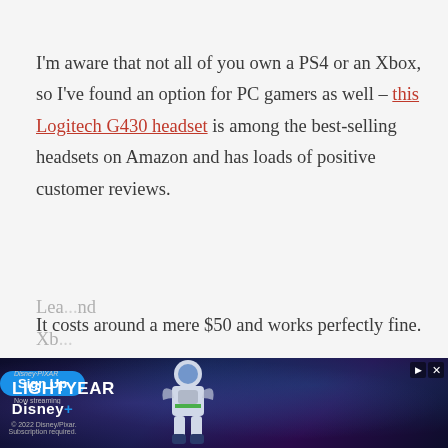I'm aware that not all of you own a PS4 or an Xbox, so I've found an option for PC gamers as well – this Logitech G430 headset is among the best-selling headsets on Amazon and has loads of positive customer reviews.
It costs around a mere $50 and works perfectly fine.
Lea... nd Xb...
[Figure (infographic): Disney Pixar Lightyear advertisement banner with Buzz Lightyear character, Disney+ logo, Sign Up button, and 'Now streaming' text]